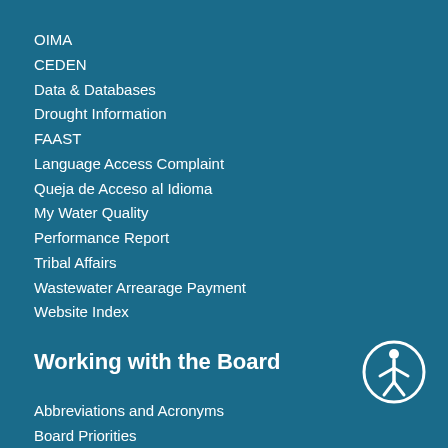OIMA
CEDEN
Data & Databases
Drought Information
FAAST
Language Access Complaint
Queja de Acceso al Idioma
My Water Quality
Performance Report
Tribal Affairs
Wastewater Arrearage Payment
Website Index
Working with the Board
Abbreviations and Acronyms
Board Priorities
Decisions Pending &
Opportunities for Public Participation